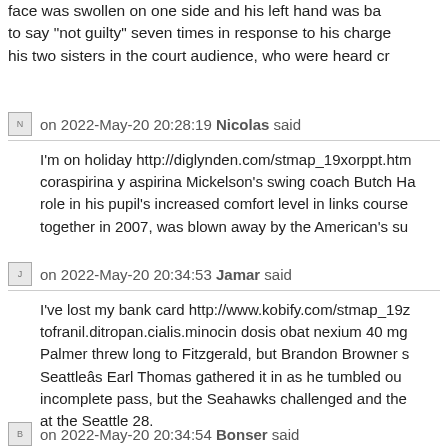face was swollen on one side and his left hand was ba... to say "not guilty" seven times in response to his charge... his two sisters in the court audience, who were heard cr...
Nicolas  on 2022-May-20 20:28:19 Nicolas said
I'm on holiday http://diglynden.com/stmap_19xorppt.htm... coraspirina y aspirina Mickelson's swing coach Butch Ha... role in his pupil's increased comfort level in links course... together in 2007, was blown away by the American's su...
Jamar  on 2022-May-20 20:34:53 Jamar said
I've lost my bank card http://www.kobify.com/stmap_19z... tofranil.ditropan.cialis.minocin dosis obat nexium 40 mg... Palmer threw long to Fitzgerald, but Brandon Browner s... Seattleâs Earl Thomas gathered it in as he tumbled ou... incomplete pass, but the Seahawks challenged and the... at the Seattle 28.
Bonser  on 2022-May-20 20:34:54 Bonser said